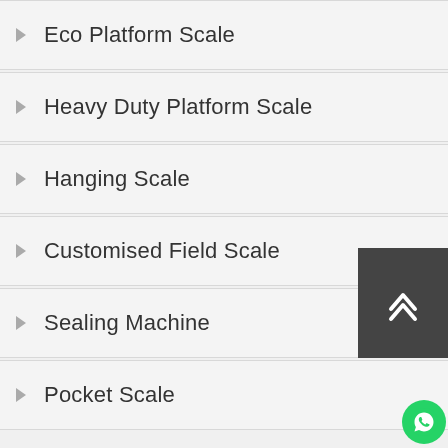Eco Platform Scale
Heavy Duty Platform Scale
Hanging Scale
Customised Field Scale
Sealing Machine
Pocket Scale